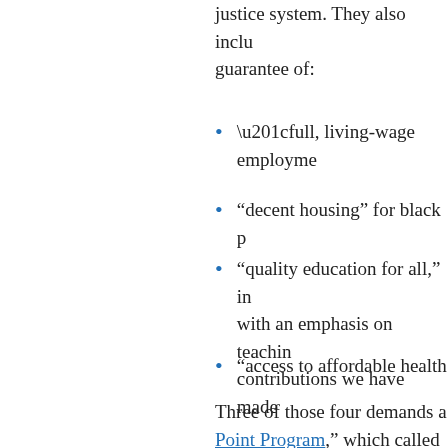justice system. They also include a guarantee of:
“full, living-wage employme…
“decent housing” for black p…
“quality education for all,” in… with an emphasis on teachin… contributions we have made…
“access to affordable health…
Three of those four demands a… Point Program, “ which called fo…